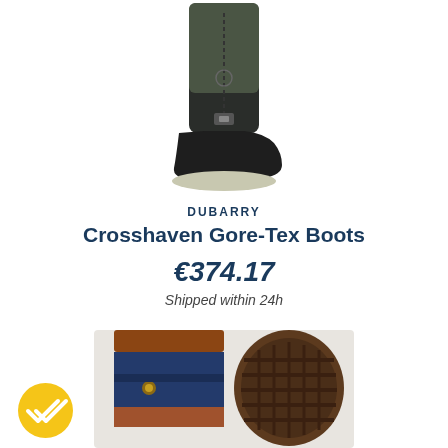[Figure (photo): Dark green/black tall sailing boot with grey sole, top portion visible, cropped at top of page]
DUBARRY
Crosshaven Gore-Tex Boots
€374.17
Shipped within 24h
[Figure (photo): Close-up of Dubarry sailing boots showing brown leather top, navy/blue fabric shaft, and brown rubber sole, partially visible]
[Figure (illustration): Yellow circular badge with white double-check mark icon]